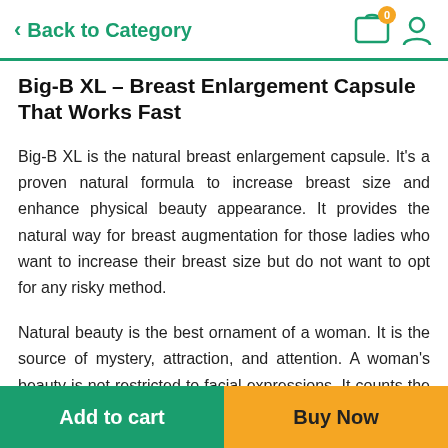Back to Category
Big-B XL – Breast Enlargement Capsule That Works Fast
Big-B XL is the natural breast enlargement capsule. It's a proven natural formula to increase breast size and enhance physical beauty appearance. It provides the natural way for breast augmentation for those ladies who want to increase their breast size but do not want to opt for any risky method.
Natural beauty is the best ornament of a woman. It is the source of mystery, attraction, and attention. A woman's beauty is not restricted to facial expressions. It counts the body and behavioural factors as well. So far the physical beauty is concerned, being the fantasy
Add to cart   Buy Now